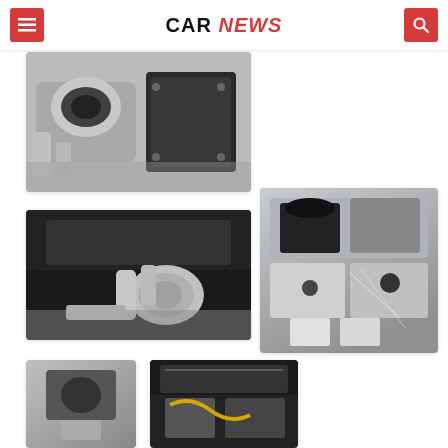CAR NEWS
[Figure (photo): Close-up photo of a car engine showing metallic components, dark cylinder head, silver alternator and engine block details]
[Figure (photo): Close-up photo of a car engine underside showing exhaust manifold, turbocharger and silver metallic components against dark background]
[Figure (photo): Close-up photo of a car engine showing black and silver components, pistons and mechanical parts against grey background]
[Figure (photo): Small photo of a car engine part showing black component on grey metallic background]
[Figure (photo): Small photo of car engine showing yellow and grey mechanical components]